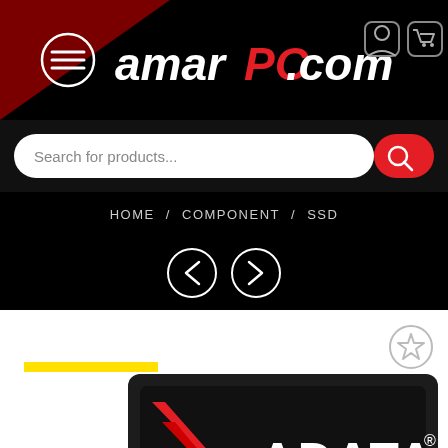[Figure (screenshot): amarPC.com website header with hamburger menu, logo, user and cart icons on black background with dark red triangle accent]
[Figure (screenshot): Search bar with placeholder text 'Search for products...' and red search button]
HOME / COMPONENT / SSD
[Figure (screenshot): Navigation left and right arrow circles]
Save 11%
[Figure (photo): Partial view of ADATA SSD drive product image]